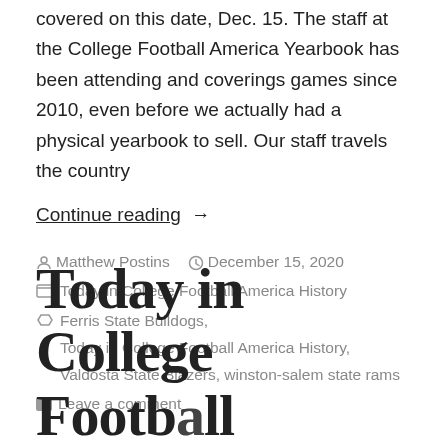covered on this date, Dec. 15. The staff at the College Football America Yearbook has been attending and coverings games since 2010, even before we actually had a physical yearbook to sell. Our staff travels the country
Continue reading  →
Matthew Postins   December 15, 2020
Today in College Football America History
Ferris State Bulldogs,
Today in College Football America History,
Valdosta State Blazers, winston-salem state rams
Leave a comment
Today in College Football...